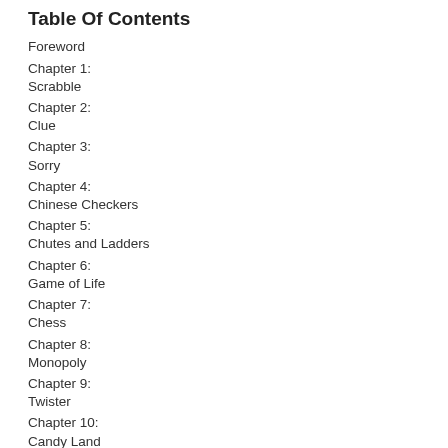Table Of Contents
Foreword
Chapter 1:
Scrabble
Chapter 2:
Clue
Chapter 3:
Sorry
Chapter 4:
Chinese Checkers
Chapter 5:
Chutes and Ladders
Chapter 6:
Game of Life
Chapter 7:
Chess
Chapter 8:
Monopoly
Chapter 9:
Twister
Chapter 10:
Candy Land
Sample Content Preview